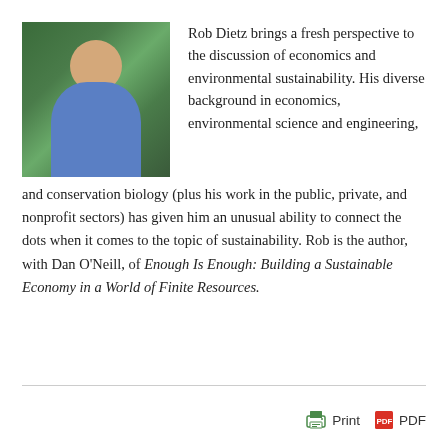[Figure (photo): Headshot photo of Rob Dietz, a man in a blue shirt smiling, with green foliage background]
Rob Dietz brings a fresh perspective to the discussion of economics and environmental sustainability. His diverse background in economics, environmental science and engineering, and conservation biology (plus his work in the public, private, and nonprofit sectors) has given him an unusual ability to connect the dots when it comes to the topic of sustainability. Rob is the author, with Dan O'Neill, of Enough Is Enough: Building a Sustainable Economy in a World of Finite Resources.
Print  PDF